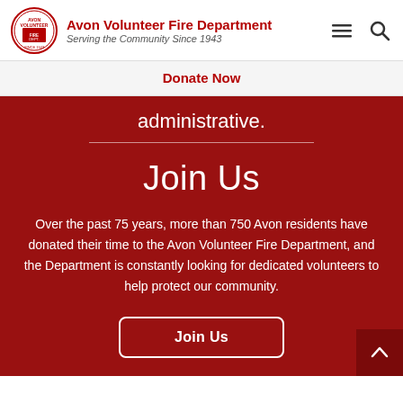Avon Volunteer Fire Department — Serving the Community Since 1943
Donate Now
administrative.
Join Us
Over the past 75 years, more than 750 Avon residents have donated their time to the Avon Volunteer Fire Department, and the Department is constantly looking for dedicated volunteers to help protect our community.
Join Us